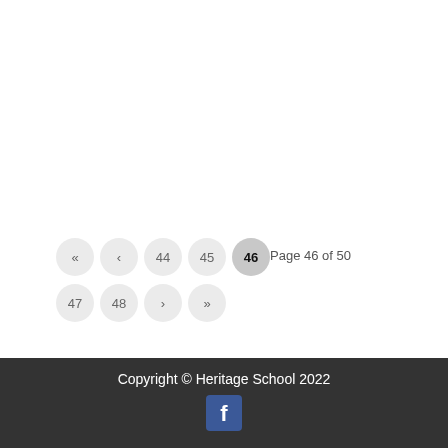« ‹ 44 45 46  Page 46 of 50
47 48 › »
Copyright © Heritage School 2022